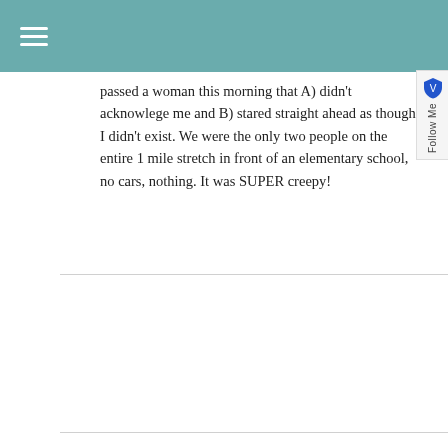≡
passed a woman this morning that A) didn't acknowlege me and B) stared straight ahead as though I didn't exist. We were the only two people on the entire 1 mile stretch in front of an elementary school, no cars, nothing. It was SUPER creepy!
BroccoliHut
I usually use stoplights as an opportunity to stretch. Maybe I'll try dancing on my next run though 🙂
Joy